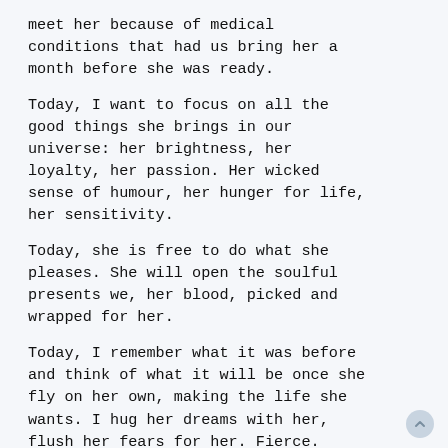meet her because of medical conditions that had us bring her a month before she was ready.
Today, I want to focus on all the good things she brings in our universe: her brightness, her loyalty, her passion. Her wicked sense of humour, her hunger for life, her sensitivity.
Today, she is free to do what she pleases. She will open the soulful presents we, her blood, picked and wrapped for her.
Today, I remember what it was before and think of what it will be once she fly on her own, making the life she wants. I hug her dreams with her, flush her fears for her. Fierce.
Today, we honour the woman she is